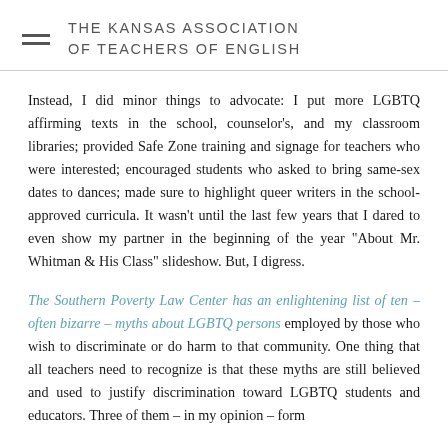THE KANSAS ASSOCIATION OF TEACHERS OF ENGLISH
Instead, I did minor things to advocate: I put more LGBTQ affirming texts in the school, counselor's, and my classroom libraries; provided Safe Zone training and signage for teachers who were interested; encouraged students who asked to bring same-sex dates to dances; made sure to highlight queer writers in the school-approved curricula. It wasn't until the last few years that I dared to even show my partner in the beginning of the year "About Mr. Whitman & His Class" slideshow. But, I digress.
The Southern Poverty Law Center has an enlightening list of ten – often bizarre – myths about LGBTQ persons employed by those who wish to discriminate or do harm to that community. One thing that all teachers need to recognize is that these myths are still believed and used to justify discrimination toward LGBTQ students and educators. Three of them – in my opinion – form